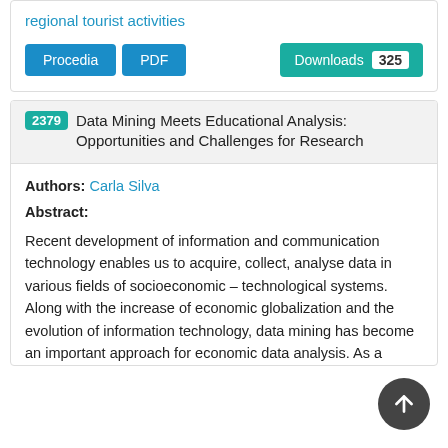regional tourist activities
[Figure (other): Procedia button, PDF button, and Downloads 325 button]
2379 Data Mining Meets Educational Analysis: Opportunities and Challenges for Research
Authors: Carla Silva
Abstract:
Recent development of information and communication technology enables us to acquire, collect, analyse data in various fields of socioeconomic – technological systems. Along with the increase of economic globalization and the evolution of information technology, data mining has become an important approach for economic data analysis. As a